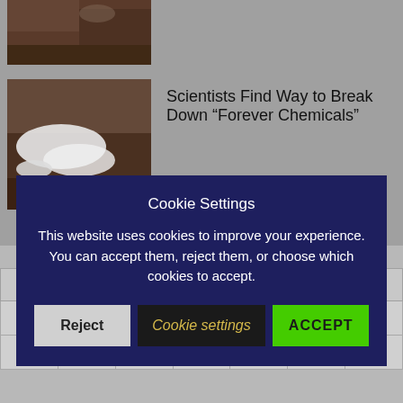[Figure (photo): Top partial image of reddish-brown rocky terrain, partially visible at top]
[Figure (photo): Image of white crystalline or ice-like substance on dark reddish-brown rocky surface]
Scientists Find Way to Break Down “Forever Chemicals”
Cookie Settings
This website uses cookies to improve your experience. You can accept them, reject them, or choose which cookies to accept.
Reject | Cookie settings | ACCEPT
JULY 2019
| M | T | W | T | F | S | S |
| --- | --- | --- | --- | --- | --- | --- |
| 1 | 2 | 3 | 4 | 5 | 6 | 7 |
| 8 | 9 | 10 | 11 | 12 | 13 | 14 |